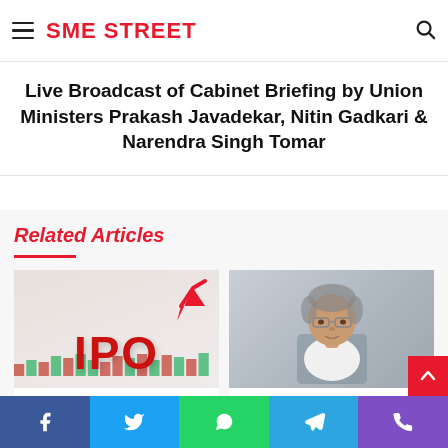SME STREET
Live Broadcast of Cabinet Briefing by Union Ministers Prakash Javadekar, Nitin Gadkari & Narendra Singh Tomar
Related Articles
[Figure (photo): IPO graphic with red 3D letters and upward arrow]
Swastik Pipes Gets NSE's IPO
[Figure (photo): Portrait photo of a man wearing glasses in formal attire]
Indian Railways Recorded